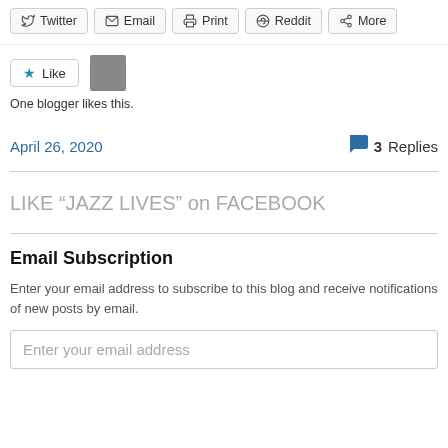Twitter | Email | Print | Reddit | More
[Figure (other): Like button with star icon and blogger avatar thumbnail]
One blogger likes this.
April 26, 2020
3 Replies
LIKE “JAZZ LIVES” on FACEBOOK
Email Subscription
Enter your email address to subscribe to this blog and receive notifications of new posts by email.
Enter your email address